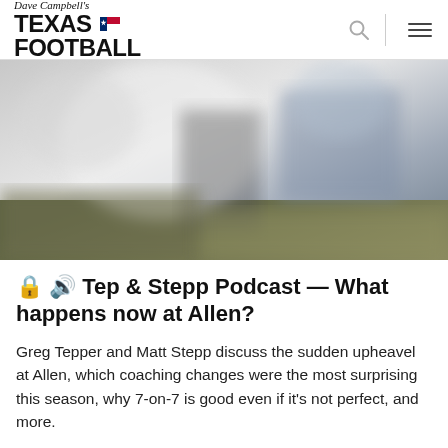Dave Campbell's Texas Football
[Figure (photo): Blurred outdoor football-related background image, muted grays and greens, no recognizable subject]
🔒 🔊 Tep & Stepp Podcast — What happens now at Allen?
Greg Tepper and Matt Stepp discuss the sudden upheavel at Allen, which coaching changes were the most surprising this season, why 7-on-7 is good even if it's not perfect, and more.